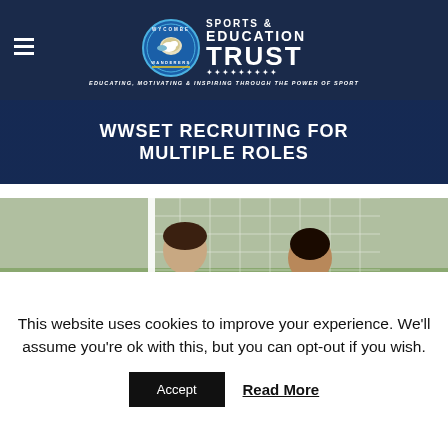[Figure (logo): Wycombe Wanderers Sports & Education Trust logo with circle emblem and text]
WWSET RECRUITING FOR MULTIPLE ROLES
[Figure (photo): Two young people on a football pitch near a goal net. One wearing a dark blue jacket, another wearing a pink/orange bib.]
This website uses cookies to improve your experience. We'll assume you're ok with this, but you can opt-out if you wish.
Accept
Read More